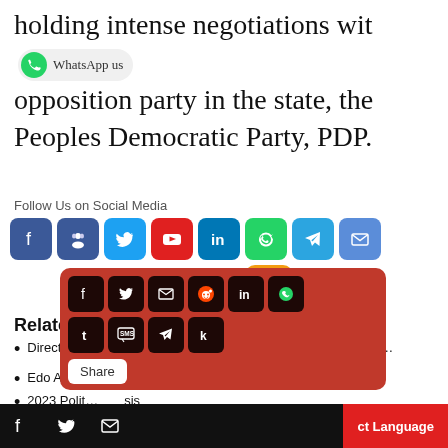holding intense negotiations with opposition party in the state, the Peoples Democratic Party, PDP.
Follow Us on Social Media
[Figure (infographic): Row of social media icons: Facebook, MySpace/Friends, Twitter, YouTube, LinkedIn, WhatsApp, Telegram, Email, and RSS feed]
Related Posts:
Direct Primary Controversy: APC's Appeal Challenging Lower…
Edo APC … Court Rules
2023 Polit… sis
[Figure (screenshot): Red share overlay popup with social sharing icons (Facebook, Twitter, Email, Reddit, LinkedIn, WhatsApp, Tumblr, SMS, Telegram, Kik) and a Share button]
[Figure (infographic): Black bottom bar with social share icons and red Translate Language button]